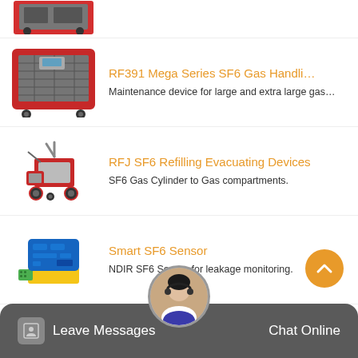[Figure (photo): Partial top view of a large red industrial SF6 gas handling machine on wheels]
[Figure (photo): RF391 Mega Series SF6 Gas Handling device - large red industrial cabinet machine on wheels]
RF391 Mega Series SF6 Gas Handli...
Maintenance device for large and extra large gas…
[Figure (photo): RFJ SF6 Refilling Evacuating Device - red portable cart-style device with wheels and pump]
RFJ SF6 Refilling Evacuating Devices
SF6 Gas Cylinder to Gas compartments.
[Figure (photo): Smart SF6 Sensor - blue compact electronic sensor module with green connector on yellow base]
Smart SF6 Sensor
NDIR SF6 Sensor for leakage monitoring.
Leave Messages   Chat Online